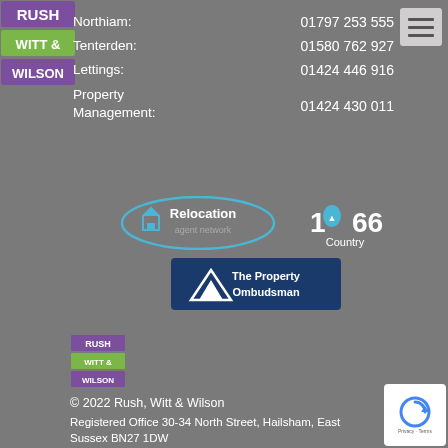[Figure (logo): Rush Witt & Wilson logo - purple/green blocks top left]
[Figure (logo): Hamburger menu icon top right]
Northiam: 01797 253 555
Tenterden: 01580 762 927
Lettings: 01424 446 916
Property Management: 01424 430 011
[Figure (logo): Relocation agent network logo - blue oval with house icon]
[Figure (logo): 1066 Country logo - white text]
[Figure (logo): The Property Ombudsman logo - dark blue rectangle with triangle/mountain icon]
[Figure (logo): Rush Witt & Wilson smaller logo bottom left]
© 2022 Rush, Witt & Wilson
Registered Office 30-34 North Street, Hailsham, East Sussex BN27 1DW